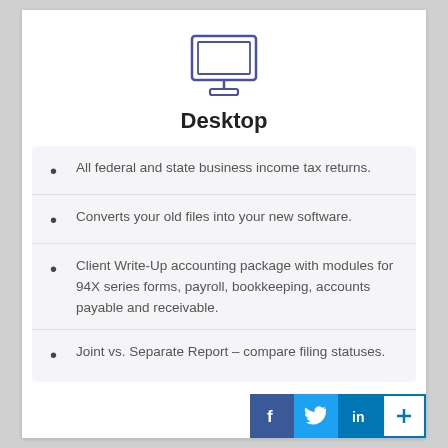[Figure (illustration): Desktop computer monitor icon outlined in blue/indigo lines]
Desktop
All federal and state business income tax returns.
Converts your old files into your new software.
Client Write-Up accounting package with modules for 94X series forms, payroll, bookkeeping, accounts payable and receivable.
Joint vs. Separate Report – compare filing statuses.